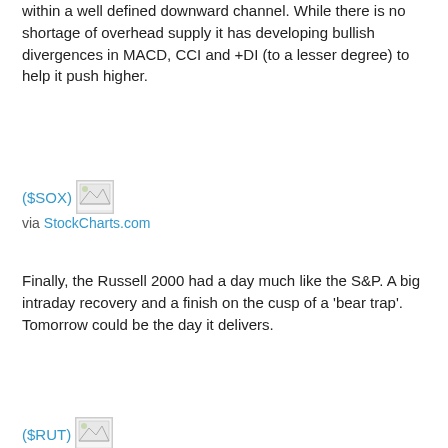within a well defined downward channel. While there is no shortage of overhead supply it has developing bullish divergences in MACD, CCI and +DI (to a lesser degree) to help it push higher.
($SOX) [image] via StockCharts.com
Finally, the Russell 2000 had a day much like the S&P. A big intraday recovery and a finish on the cusp of a 'bear trap'. Tomorrow could be the day it delivers.
($RUT) [image] via StockCharts.com
Tomorrow should see some upside follow through given today's volume. Look for supply when indices make it back to moving averages, especially the 20-day and 50-day MAs. These faster moving averages are more likely areas for shorts to attack.